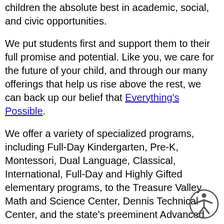children the absolute best in academic, social, and civic opportunities.
We put students first and support them to their full promise and potential. Like you, we care for the future of your child, and through our many offerings that help us rise above the rest, we can back up our belief that Everything's Possible.
We offer a variety of specialized programs, including Full-Day Kindergarten, Pre-K, Montessori, Dual Language, Classical, International, Full-Day and Highly Gifted elementary programs, to the Treasure Valley Math and Science Center, Dennis Technical Center, and the state's preeminent Advanced Placement program.
Boise School District students continue to outperform the state of Idaho on college entrance exams, AP tests and standardized achievement
[Figure (illustration): Accessibility icon: a person inside a circle, representing accessibility features]